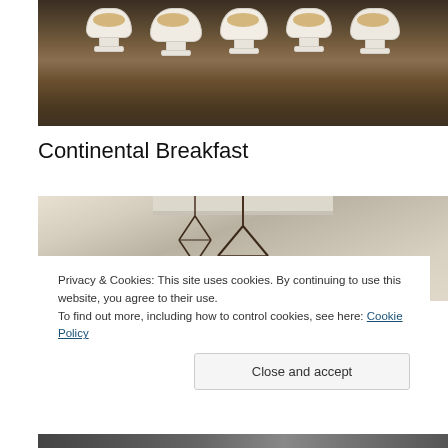[Figure (photo): Wooden table with white pedestal bowls containing food items, viewed from an angle, dark hardwood floor visible below]
Continental Breakfast
[Figure (photo): Interior ceiling view with geometric metal lantern pendant light fixtures hanging from white coffered ceiling]
Privacy & Cookies: This site uses cookies. By continuing to use this website, you agree to their use.
To find out more, including how to control cookies, see here: Cookie Policy
Close and accept
[Figure (photo): Bottom portion of another interior photo, partially visible]